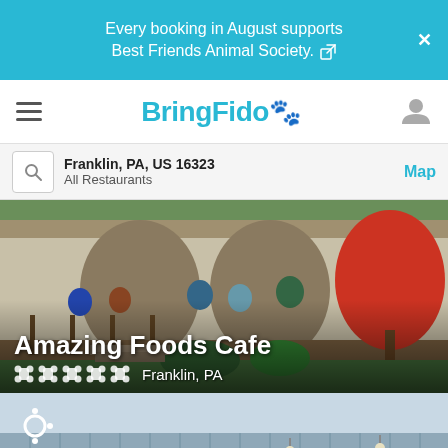Every booking in August supports Best Friends Animal Society.
[Figure (screenshot): BringFido mobile app navigation bar with hamburger menu, BringFido logo, and user icon]
Franklin, PA, US 16323 | All Restaurants | Map
[Figure (photo): Amazing Foods Cafe exterior with porch and people, Franklin PA]
[Figure (photo): Garage Bar & Grill exterior sign on blue corrugated metal building]